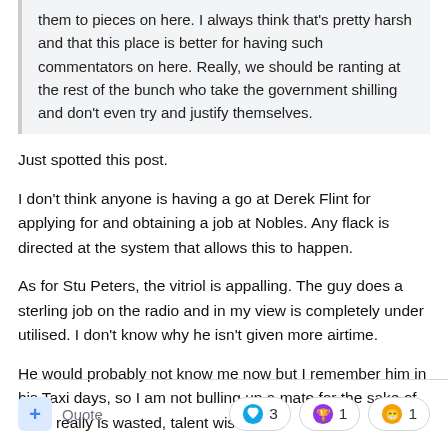them to pieces on here. I always think that's pretty harsh and that this place is better for having such commentators on here. Really, we should be ranting at the rest of the bunch who take the government shilling and don't even try and justify themselves.
Just spotted this post.
I don't think anyone is having a go at Derek Flint for applying for and obtaining a job at Nobles. Any flack is directed at the system that allows this to happen.
As for Stu Peters, the vitriol is appalling. The guy does a sterling job on the radio and in my view is completely under utilised. I don't know why he isn't given more airtime.
He would probably not know me now but I remember him in his Taxi days, so I am not bulling up a mate for the sake of it, he really is wasted, talent wise.
+ Quote   ❤ 3   🏆 1   😁 1